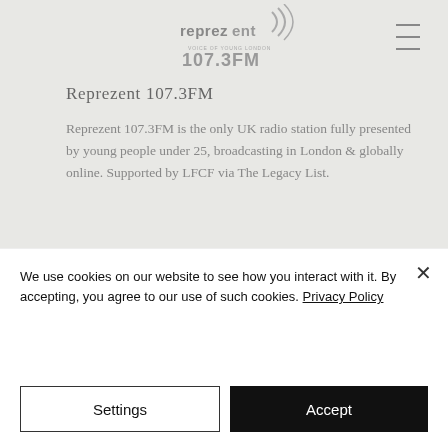[Figure (logo): Reprezent 107.3FM radio station logo with stylized text and signal waves]
Reprezent 107.3FM
Reprezent 107.3FM is the only UK radio station fully presented by young people under 25, broadcasting in London & globally online. Supported by LFCF via The Legacy List.
Visit the website
We use cookies on our website to see how you interact with it. By accepting, you agree to our use of such cookies. Privacy Policy
Settings
Accept